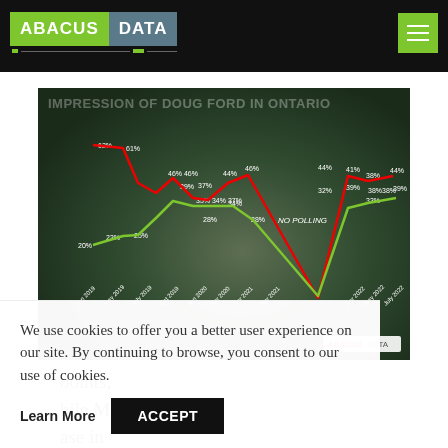[Figure (logo): Abacus Data logo with green ABACUS and gray DATA text blocks]
[Figure (line-chart): Line chart showing positive (green) and negative (red) impressions of Doug Ford in Ontario over time from 2019 to 2022. Values shown: Neg peak 62%, 61%; Pos values around 20%-25%; later neg around 44%-46%, pos 38%-46%; then neg 41%-44%, pos 33%-39%.]
We use cookies to offer you a better user experience on our site. By continuing to browse, you consent to our use of cookies.
Learn More
ACCEPT
oints, hile Mike ase in those who have a positive view of him. Mr.